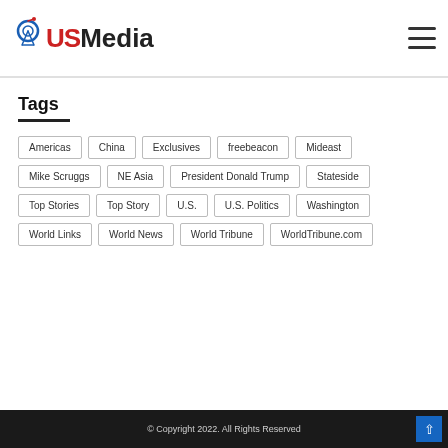USMedia
Tags
Americas
China
Exclusives
freebeacon
Mideast
Mike Scruggs
NE Asia
President Donald Trump
Stateside
Top Stories
Top Story
U.S.
U.S. Politics
Washington
World Links
World News
World Tribune
WorldTribune.com
© Copyright 2022. All Rights Reserved